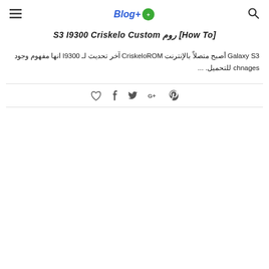Blog+ [logo icon] [hamburger menu] [search icon]
S3 I9300 Criskelo Custom روم [How To]
Galaxy S3 أصبح متصلاً بالإنترنت CriskeloROM آخر تحديث لـ I9300 انها مفهوم وجود chnages للتحميل. ...
[Figure (other): Social media sharing icons: heart/like, Facebook, Twitter, Google+, Pinterest]